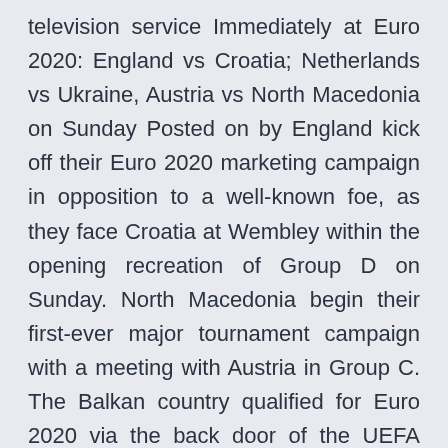television service Immediately at Euro 2020: England vs Croatia; Netherlands vs Ukraine, Austria vs North Macedonia on Sunday Posted on by England kick off their Euro 2020 marketing campaign in opposition to a well-known foe, as they face Croatia at Wembley within the opening recreation of Group D on Sunday. North Macedonia begin their first-ever major tournament campaign with a meeting with Austria in Group C. The Balkan country qualified for Euro 2020 via the back door of the UEFA Nations League playoff and meet an Austria side who disappointed five years ago when tipped as dark horses, but still boast some star names, including the likes of · Austria vs. North Macedonia will be the opener for Group C this Sunday. Being in a group with Netherland and Ukraine will be a hard challenge for both teams to find a place in the top 16 of Euro 2020.